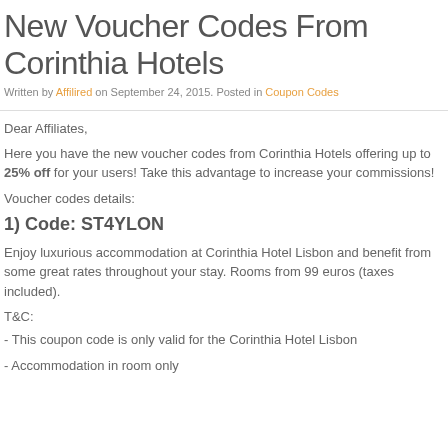New Voucher Codes From Corinthia Hotels
Written by Affilired on September 24, 2015. Posted in Coupon Codes
Dear Affiliates,
Here you have the new voucher codes from Corinthia Hotels offering up to 25% off for your users! Take this advantage to increase your commissions!
Voucher codes details:
1) Code: ST4YLON
Enjoy luxurious accommodation at Corinthia Hotel Lisbon and benefit from some great rates throughout your stay. Rooms from 99 euros (taxes included).
T&C:
- This coupon code is only valid for the Corinthia Hotel Lisbon
- Accommodation in room only